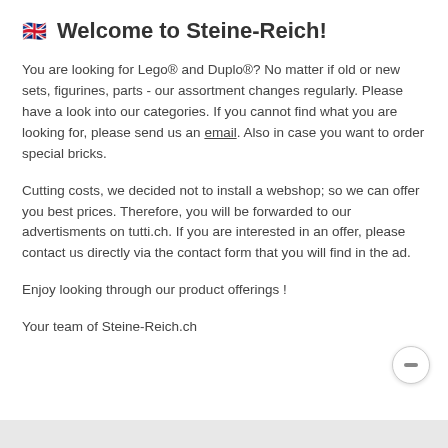Welcome to Steine-Reich!
You are looking for Lego® and Duplo®? No matter if old or new sets, figurines, parts - our assortment changes regularly. Please have a look into our categories. If you cannot find what you are looking for, please send us an email. Also in case you want to order special bricks.
Cutting costs, we decided not to install a webshop; so we can offer you best prices. Therefore, you will be forwarded to our advertisments on tutti.ch. If you are interested in an offer, please contact us directly via the contact form that you will find in the ad.
Enjoy looking through our product offerings !
Your team of Steine-Reich.ch